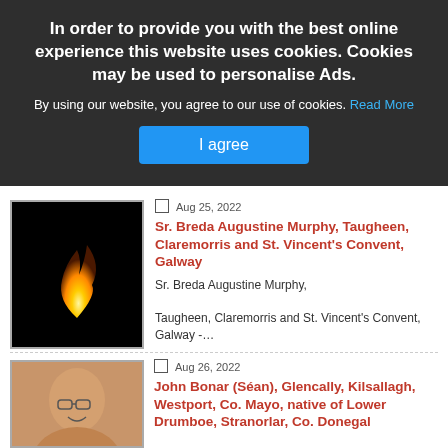In order to provide you with the best online experience this website uses cookies. Cookies may be used to personalise Ads.
By using our website, you agree to our use of cookies. Read More
I agree
Aug 25, 2022
Sr. Breda Augustine Murphy, Taugheen, Claremorris and St. Vincent's Convent, Galway
Sr. Breda Augustine Murphy, Taugheen, Claremorris and St. Vincent's Convent, Galway -...
Aug 26, 2022
John Bonar (Séan), Glencally, Kilsallagh, Westport, Co. Mayo, native of Lower Drumboe, Stranorlar, Co. Donegal